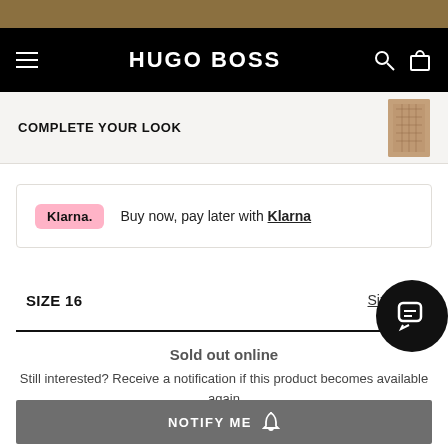HUGO BOSS
COMPLETE YOUR LOOK
Buy now, pay later with Klarna
SIZE 16  Size Info
Sold out online
Still interested? Receive a notification if this product becomes available again
NOTIFY ME
Find in store